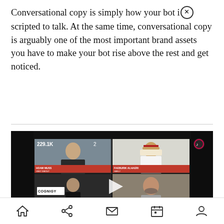Conversational copy is simply how your bot is scripted to talk. At the same time, conversational copy is arguably one of the most important brand assets you have to make your bot rise above the rest and get noticed.
[Figure (screenshot): Video call screenshot showing four participants in a grid layout: top-left man in dark shirt, top-right man in traditional Arab dress, bottom-left man in black in front of Cognigy branding, bottom-right man with beard. View count shows 229.1K. Red name bars visible. White play arrow overlay in center.]
Home | Share | Mail | Calendar | Profile